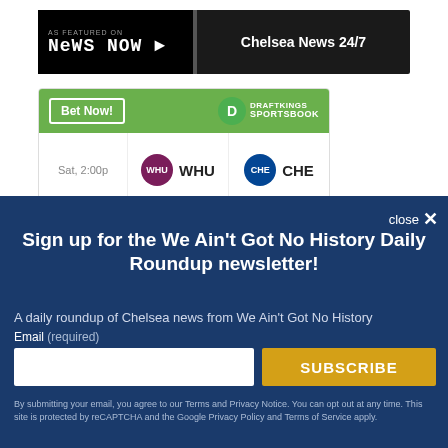[Figure (logo): News Now banner with Chelsea News 24/7 text]
[Figure (infographic): DraftKings Sportsbook widget showing WHU vs CHE on Sat, 2:00p]
close ×
Sign up for the We Ain't Got No History Daily Roundup newsletter!
A daily roundup of Chelsea news from We Ain't Got No History
Email (required)
SUBSCRIBE
By submitting your email, you agree to our Terms and Privacy Notice. You can opt out at any time. This site is protected by reCAPTCHA and the Google Privacy Policy and Terms of Service apply.